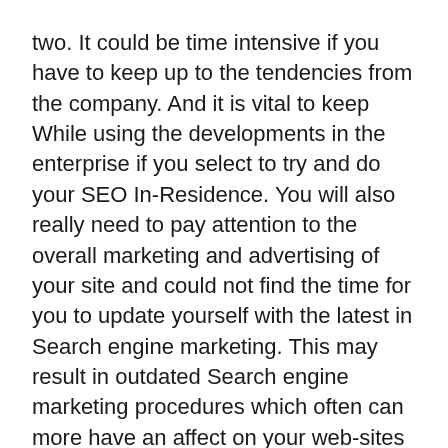two. It could be time intensive if you have to keep up to the tendencies from the company. And it is vital to keep While using the developments in the enterprise if you select to try and do your SEO In-Residence. You will also really need to pay attention to the overall marketing and advertising of your site and could not find the time for you to update yourself with the latest in Search engine marketing. This may result in outdated Search engine marketing procedures which often can more have an affect on your web-sites position.
three. Web optimization demands several tools. If you choose to complete your Web optimization In-Property, then you'll want to